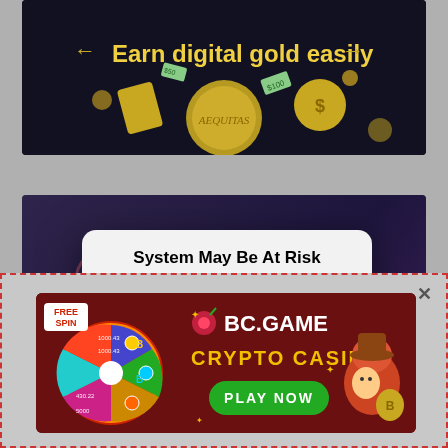[Figure (screenshot): Top advertisement banner with dark background showing 'Earn digital gold easily' text with gold coins, arrows, and currency symbols]
[Figure (screenshot): iOS-style system alert dialog overlaying a casino website background. Dialog reads 'System May Be At Risk' with subtitle 'Click Here To Resolve' and two buttons: CANCEL and OK in blue]
[Figure (screenshot): BC.GAME crypto casino advertisement banner with 'FREE SPIN' label, spinning wheel, BC.GAME logo, 'CRYPTO CASINO' text, and green 'PLAY NOW' button. Has a red dashed border and X close button.]